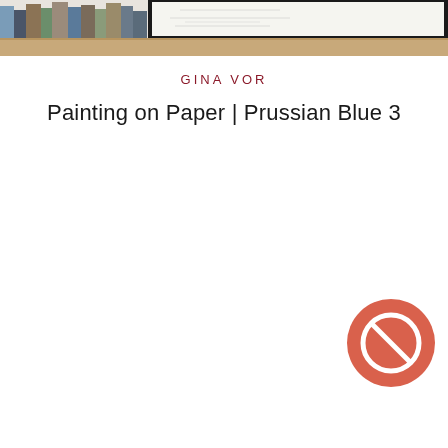[Figure (photo): Photograph showing the top portion of a framed artwork or print displayed on a wooden shelf, with stacked books visible to the left. The frame is black and the artwork inside appears to have light line drawings on white paper.]
GINA VOR
Painting on Paper | Prussian Blue 3
[Figure (other): A circular button/icon with a coral/salmon red background featuring a white prohibition/ban symbol (circle with a diagonal line through it), positioned in the lower-right area of the page.]